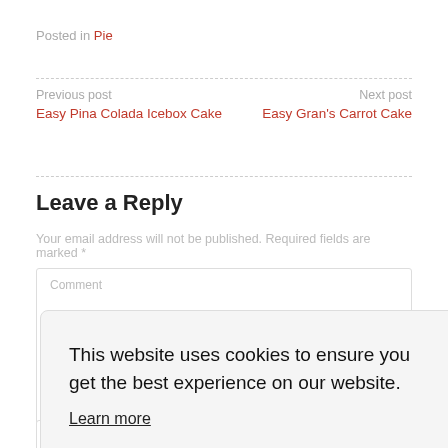Posted in Pie
Previous post
Easy Pina Colada Icebox Cake
Next post
Easy Gran's Carrot Cake
Leave a Reply
Your email address will not be published. Required fields are marked *
Comment
This website uses cookies to ensure you get the best experience on our website.
Learn more
Got it!
Name*
Email